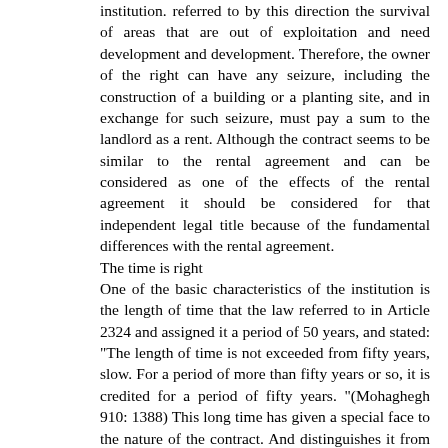institution. referred to by this direction the survival of areas that are out of exploitation and need development and development. Therefore, the owner of the right can have any seizure, including the construction of a building or a planting site, and in exchange for such seizure, must pay a sum to the landlord as a rent. Although the contract seems to be similar to the rental agreement and can be considered as one of the effects of the rental agreement it should be considered for that independent legal title because of the fundamental differences with the rental agreement.
The time is right
One of the basic characteristics of the institution is the length of time that the law referred to in Article 2324 and assigned it a period of 50 years, and stated: "The length of time is not exceeded from fifty years, slow. For a period of more than fifty years or so, it is credited for a period of fifty years. "(Mohaghegh 910: 1388) This long time has given a special face to the nature of the contract. And distinguishes it from ordinary rental contracts. This institution has long been in all legal systems, and one of the differences with the rental agreement is the same feature of the length of the term.
Expiry clause and court authorization
Because of the special effects and the mixing of various contracts and the plight of multiple rights, it is not possible to conclude this contract in Afghanistan except in exceptional cases. The contract in this country shall be concluded only on the basis of necessity or expediency and with the permission of the Provincial Court where